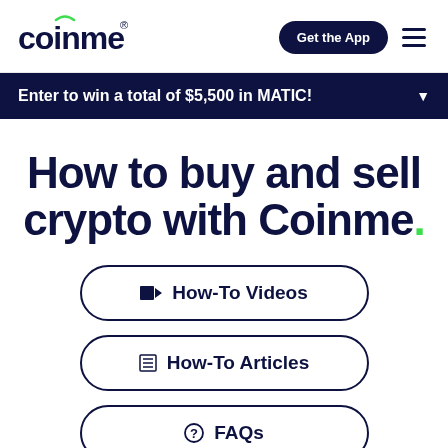[Figure (logo): Coinme logo with green arc above the 'i' and registered trademark symbol]
Get the App
Enter to win a total of $5,500 in MATIC!
How to buy and sell crypto with Coinme.
How-To Videos
How-To Articles
FAQs